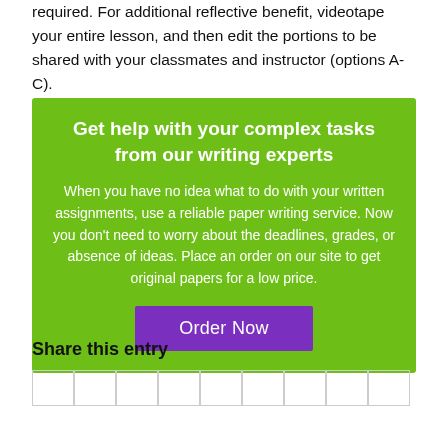required. For additional reflective benefit, videotape your entire lesson, and then edit the portions to be shared with your classmates and instructor (options A-C).
[Figure (infographic): Green promotional box with bold white heading 'Get help with your complex tasks from our writing experts', body text about paper writing service, and a purple 'Order Now' button.]
Share this entry